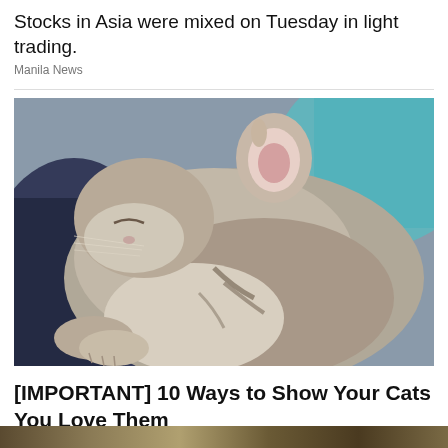Stocks in Asia were mixed on Tuesday in light trading.
Manila News
[Figure (photo): A grey tabby cat curled up sleeping, photographed close-up against a blue background and dark navy fabric.]
[IMPORTANT] 10 Ways to Show Your Cats You Love Them
ViralBezz | Sponsored
[Figure (photo): Bottom strip of another article image, partially visible.]